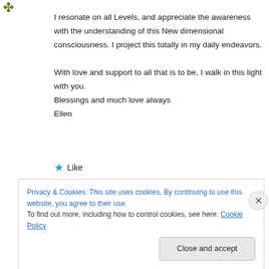[Figure (logo): Small decorative logo/icon with olive/gold color at top left]
I resonate on all Levels, and appreciate the awareness with the understanding of this New dimensional consciousness. I project this totally in my daily endeavors.
With love and support to all that is to be, I walk in this light with you.
Blessings and much love always
Ellen
★ Like
Privacy & Cookies: This site uses cookies. By continuing to use this website, you agree to their use.
To find out more, including how to control cookies, see here: Cookie Policy
Close and accept